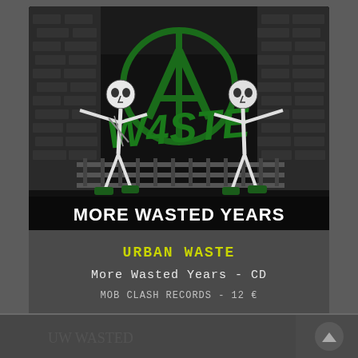[Figure (illustration): Punk album cover art for Urban Waste 'More Wasted Years' CD. Black and white illustration with green graffiti-style logo (UW with anarchy symbol) in the center. Two skeleton figures in punk attire flank the logo. Text at bottom reads 'MORE WASTED YEARS' in white graffiti style lettering. Background shows a brick wall and urban environment.]
URBAN WASTE
More Wasted Years - CD
MOB CLASH RECORDS - 12 €